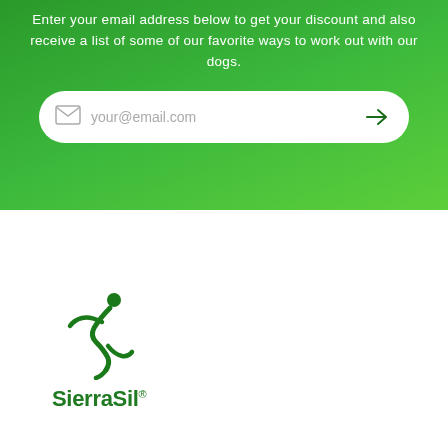Enter your email address below to get your discount and also receive a list of some of our favorite ways to work out with our dogs.
[Figure (other): Email input bar with envelope icon, placeholder text 'your@email.com', and a right-arrow submit button, on a white rounded rectangle over green background]
[Figure (logo): SierraSil logo: green stylized running figure above the text 'SierraSil' with a registered trademark superscript, in dark green on white background]